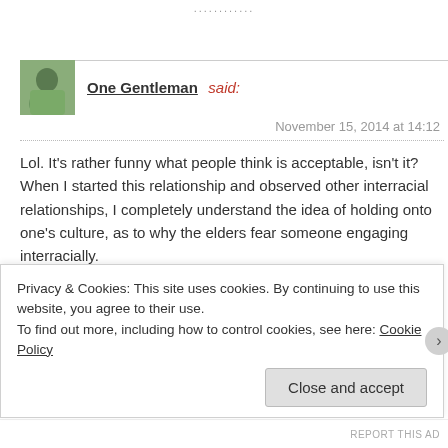............
One Gentleman said:
November 15, 2014 at 14:12
Lol. It's rather funny what people think is acceptable, isn't it? When I started this relationship and observed other interracial relationships, I completely understand the idea of holding onto one's culture, as to why the elders fear someone engaging interracially.

However, if they maintain the importance of their culture, pass down the language/cuisine, etc., what is the
Privacy & Cookies: This site uses cookies. By continuing to use this website, you agree to their use.
To find out more, including how to control cookies, see here: Cookie Policy
Close and accept